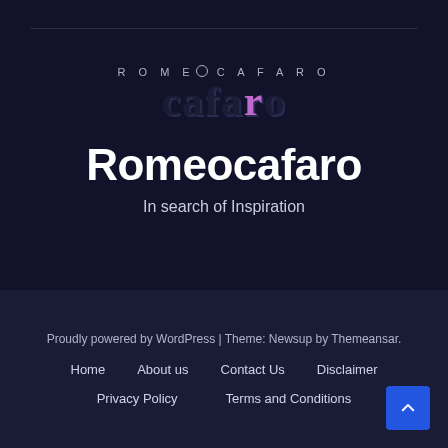[Figure (logo): Romeo Cafaro logo — 'ROMEO' in small spaced capitals above large stylized 'cafaro' text with the 'r' in purple]
Romeocafaro
In search of Inspiration
Proudly powered by WordPress | Theme: Newsup by Themeansar.
Home   About us   Contact Us   Disclaimer
Privacy Policy   Terms and Conditions